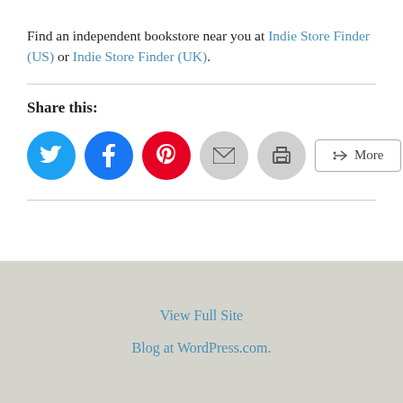Find an independent bookstore near you at Indie Store Finder (US) or Indie Store Finder (UK).
Share this:
[Figure (other): Social sharing buttons: Twitter (blue circle), Facebook (blue circle), Pinterest (red circle), Email (gray circle), Print (gray circle), and a More button]
View Full Site
Blog at WordPress.com.